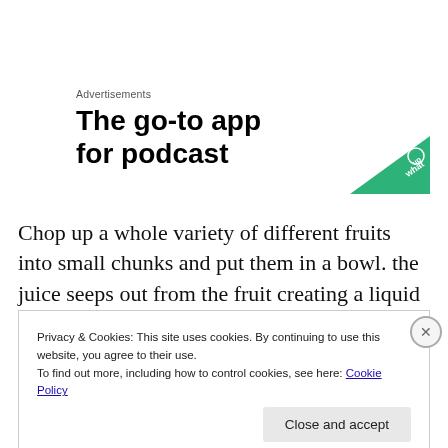Advertisements
[Figure (illustration): Advertisement banner with bold text 'The go-to app for podcast' and a green triangular logo icon on the right]
Chop up a whole variety of different fruits into small chunks and put them in a bowl. the juice seeps out from the fruit creating a liquid fruit salad. It's one of my favorite on the go snacks.
Privacy & Cookies: This site uses cookies. By continuing to use this website, you agree to their use.
To find out more, including how to control cookies, see here: Cookie Policy
Close and accept